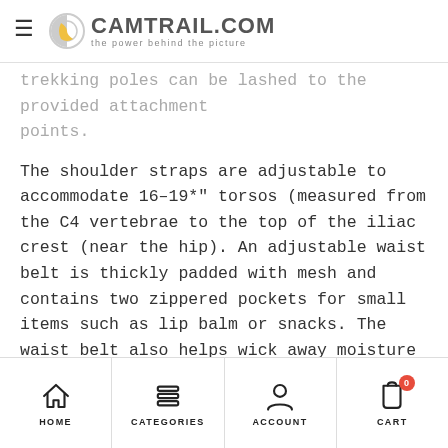CAMTRAIL.COM — the power behind the picture
trekking poles can be lashed to the provided attachment points.
The shoulder straps are adjustable to accommodate 16–19*" torsos (measured from the C4 vertebrae to the top of the iliac crest (near the hip). An adjustable waist belt is thickly padded with mesh and contains two zippered pockets for small items such as lip balm or snacks. The waist belt also helps wick away moisture for added comfort. Lowepro uses their AirFlow suspension system with breathable back panel. The panel is ventilated for excellent air flow and comfort and helps with load distribution while on your hike. Compression straps allow you to alter the overall footprint of the pack depending
HOME  CATEGORIES  ACCOUNT  CART